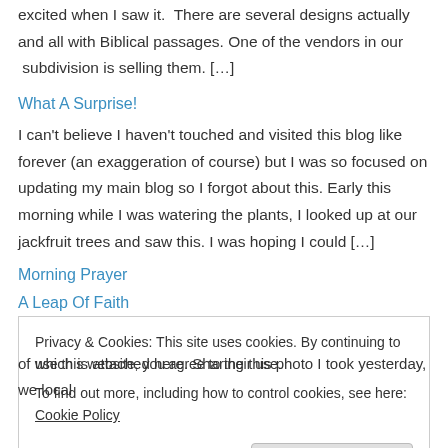excited when I saw it.  There are several designs actually and all with Biblical passages. One of the vendors in our  subdivision is selling them. [...]
What A Surprise!
I can't believe I haven't touched and visited this blog like forever (an exaggeration of course) but I was so focused on updating my main blog so I forgot about this. Early this morning while I was watering the plants, I looked up at our jackfruit trees and saw this. I was hoping I could [...]
Morning Prayer
A Leap Of Faith
I am reblogging this here for all its worth.  Thank you for reading 🙂 You might wonder how are family has been since my brother was diagnosed
Privacy & Cookies: This site uses cookies. By continuing to use this website, you agree to their use.
To find out more, including how to control cookies, see here: Cookie Policy
of which is attached here. Sharing this photo I took yesterday, we local